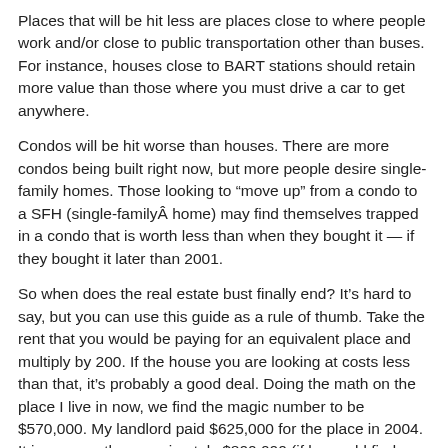Places that will be hit less are places close to where people work and/or close to public transportation other than buses. For instance, houses close to BART stations should retain more value than those where you must drive a car to get anywhere.
Condos will be hit worse than houses. There are more condos being built right now, but more people desire single-family homes. Those looking to “move up” from a condo to a SFH (single-familyÂ home) may find themselves trapped in a condo that is worth less than when they bought it — if they bought it later than 2001.
So when does the real estate bust finally end? It’s hard to say, but you can use this guide as a rule of thumb. Take the rent that you would be paying for an equivalent place and multiply by 200. If the house you are looking at costs less than that, it’s probably a good deal. Doing the math on the place I live in now, we find the magic number to be $570,000. My landlord paid $625,000 for the place in 2004. It is now worth approximately $800,000 (if he could find someone to buy at that price — duplexes are not hugely popular here.) A 35% decline over the current “high-water” $800,000 price puts the duplex at roughly worth $520,000.
This duplex sold for $325,000 in 2000.